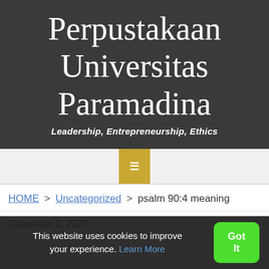Perpustakaan Universitas Paramadina
Leadership, Entrepreneurship, Ethics
HOME > Uncategorized > psalm 90:4 meaning
December 2, 2020
This website uses cookies to improve your experience. Learn More